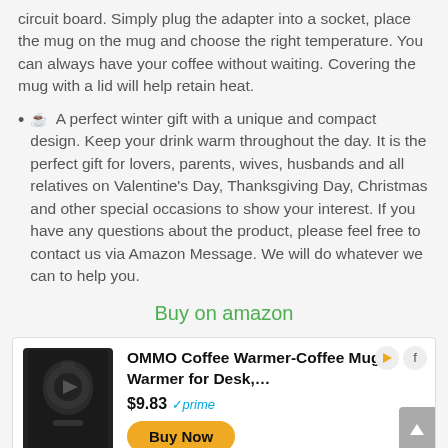circuit board. Simply plug the adapter into a socket, place the mug on the mug and choose the right temperature. You can always have your coffee without waiting. Covering the mug with a lid will help retain heat.
🍵 A perfect winter gift with a unique and compact design. Keep your drink warm throughout the day. It is the perfect gift for lovers, parents, wives, husbands and all relatives on Valentine's Day, Thanksgiving Day, Christmas and other special occasions to show your interest. If you have any questions about the product, please feel free to contact us via Amazon Message. We will do whatever we can to help you.
Buy on amazon
[Figure (other): Advertisement box for OMMO Coffee Warmer-Coffee Mug Warmer for Desk, priced at $9.83 with Amazon Prime, showing a black mug warmer device image and a Buy Now button]